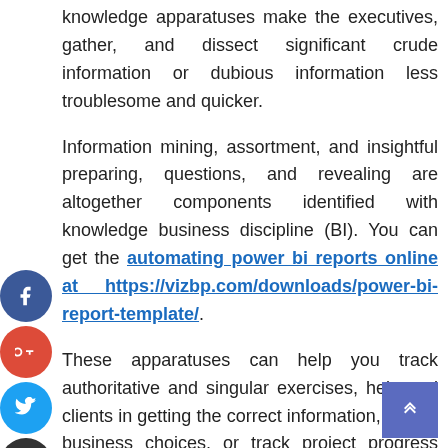knowledge apparatuses make the executives, gather, and dissect significant crude information or dubious information less troublesome and quicker.
Information mining, assortment, and insightful preparing, questions, and revealing are altogether components identified with knowledge business discipline (BI). You can get the automating power bi reports online at https://vizbp.com/downloads/power-bi-report-template/.
These apparatuses can help you track authoritative and singular exercises, help end clients in getting the correct information, review business choices, or track project progress more effectively than past information applied.